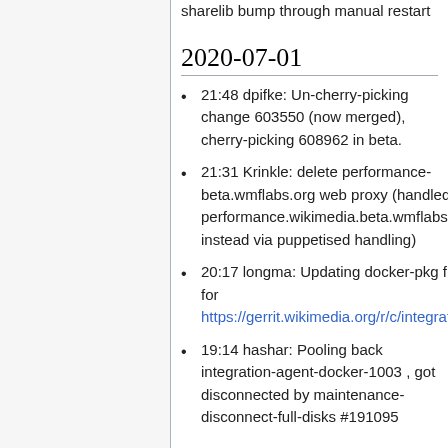sharelib bump through manual restart
2020-07-01
21:48 dpifke: Un-cherry-picking change 603550 (now merged), cherry-picking 608962 in beta.
21:31 Krinkle: delete performance-beta.wmflabs.org web proxy (handled by performance.wikimedia.beta.wmflabs.org instead via puppetised handling)
20:17 longma: Updating docker-pkg files on contint primary for https://gerrit.wikimedia.org/r/c/integration/config/+/608500
19:14 hashar: Pooling back integration-agent-docker-1003 , got disconnected by maintenance-disconnect-full-disks #191095